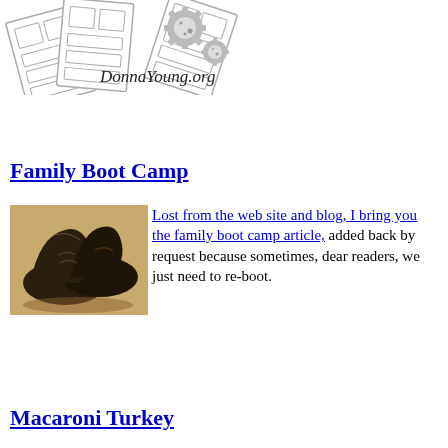[Figure (logo): DonnaYoung.org logo with paper/card templates and gear icons]
Family Boot Camp
[Figure (photo): Old worn boots painting (Van Gogh style)]
Lost from the web site and blog, I bring you the family boot camp article, added back by request because sometimes, dear readers, we just need to re-boot.
Macaroni Turkey